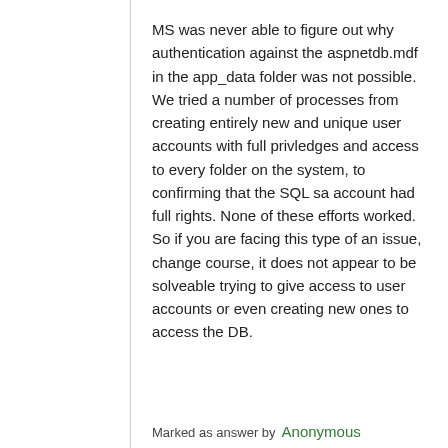MS was never able to figure out why authentication against the aspnetdb.mdf in the app_data folder was not possible. We tried a number of processes from creating entirely new and unique user accounts with full privledges and access to every folder on the system, to confirming that the SQL sa account had full rights. None of these efforts worked. So if you are facing this type of an issue, change course, it does not appear to be solveable trying to give access to user accounts or even creating new ones to access the DB.
Marked as answer by  Anonymous